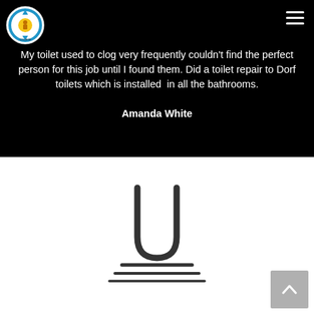[Figure (logo): Circular logo with arrows and a plumbing-related emblem, colored blue and yellow]
[Figure (other): Hamburger menu icon with three horizontal white lines on black background]
My toilet used to clog very frequently couldn't find the perfect person for this job until I found them. Did a toilet repair to Dorf toilets which is installed in all the bathrooms. Amanda White
[Figure (illustration): Plumbing pipe U-bend icon above three horizontal lines, representing a plumbing or toilet service logo, on white background]
[Figure (other): Back-to-top button with upward chevron arrow on grey square background]